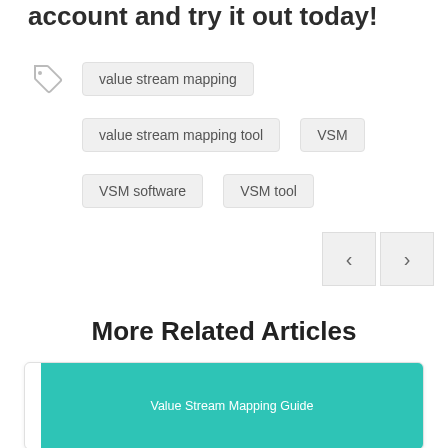account and try it out today!
value stream mapping
value stream mapping tool
VSM
VSM software
VSM tool
More Related Articles
[Figure (other): Article card with teal background showing 'Value Stream Mapping Guide']